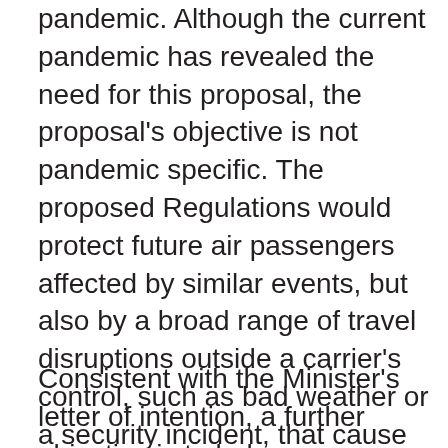pandemic. Although the current pandemic has revealed the need for this proposal, the proposal's objective is not pandemic specific. The proposed Regulations would protect future air passengers affected by similar events, but also by a broad range of travel disruptions outside a carrier's control, such as bad weather or a security incident, that cause cancellations or lengthy delays that prevent a passenger from completing their itinerary in a reasonable amount of time.
Consistent with the Minister's letter of intention, a further objective is to balance